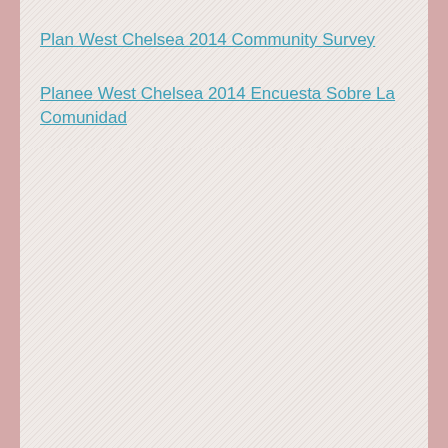Plan West Chelsea 2014 Community Survey
Planee West Chelsea 2014 Encuesta Sobre La Comunidad